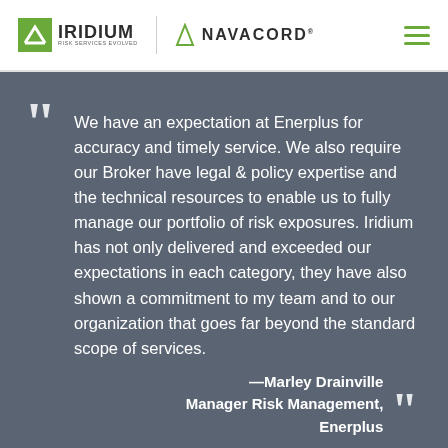[Figure (logo): Iridium Risk Services Evolved logo paired with Navacord logo in white header bar]
We have an expectation at Enerplus for accuracy and timely service. We also require our Broker have legal & policy expertise and the technical resources to enable us to fully manage our portfolio of risk exposures. Iridium has not only delivered and exceeded our expectations in each category, they have also shown a commitment to my team and to our organization that goes far beyond the standard scope of services.
—Marley Drainville
Manager Risk Management,
Enerplus